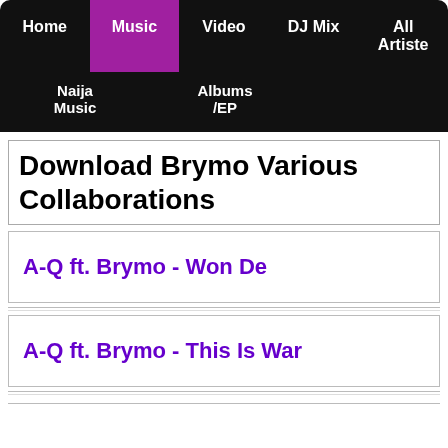Home | Music | Video | DJ Mix | All Artiste | Naija Music | Albums /EP
Download Brymo Various Collaborations
A-Q ft. Brymo - Won De
A-Q ft. Brymo - This Is War